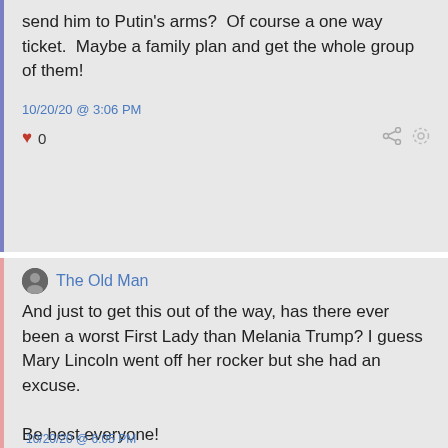send him to Putin's arms?  Of course a one way ticket.  Maybe a family plan and get the whole group of them!
10/20/20 @ 3:06 PM
❤ 0
The Old Man
And just to get this out of the way, has there ever been a worst First Lady than Melania Trump? I guess Mary Lincoln went off her rocker but she had an excuse.

Be best everyone!
10/20/20 @ 6:05 PM